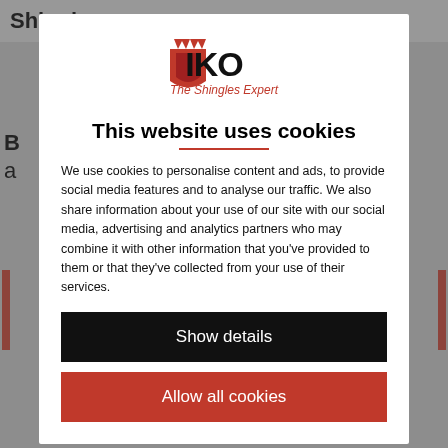Shingles range
[Figure (logo): IKO logo with crown/shield emblem and tagline 'The Shingles Expert' in red]
This website uses cookies
We use cookies to personalise content and ads, to provide social media features and to analyse our traffic. We also share information about your use of our site with our social media, advertising and analytics partners who may combine it with other information that you've provided to them or that they've collected from your use of their services.
Show details
Allow all cookies